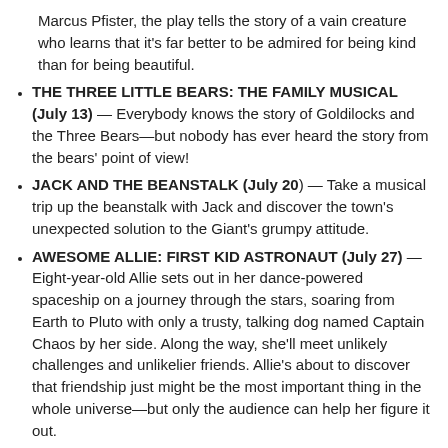Marcus Pfister, the play tells the story of a vain creature who learns that it's far better to be admired for being kind than for being beautiful.
THE THREE LITTLE BEARS: THE FAMILY MUSICAL (July 13) — Everybody knows the story of Goldilocks and the Three Bears—but nobody has ever heard the story from the bears' point of view!
JACK AND THE BEANSTALK (July 20) — Take a musical trip up the beanstalk with Jack and discover the town's unexpected solution to the Giant's grumpy attitude.
AWESOME ALLIE: FIRST KID ASTRONAUT (July 27) — Eight-year-old Allie sets out in her dance-powered spaceship on a journey through the stars, soaring from Earth to Pluto with only a trusty, talking dog named Captain Chaos by her side. Along the way, she'll meet unlikely challenges and unlikelier friends. Allie's about to discover that friendship just might be the most important thing in the whole universe—but only the audience can help her figure it out.
ALEXANDER, WHO'S NOT NOT NOT NOT GOING TO MOVE (August 3) — Based on a Judith Viorst book, this musical tells the story of a young boy who learns to